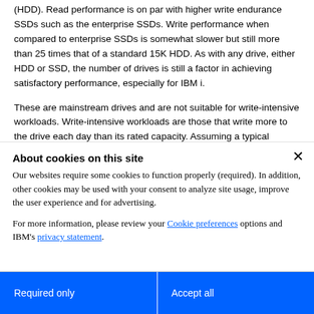(HDD). Read performance is on par with higher write endurance SSDs such as the enterprise SSDs. Write performance when compared to enterprise SSDs is somewhat slower but still more than 25 times that of a standard 15K HDD. As with any drive, either HDD or SSD, the number of drives is still a factor in achieving satisfactory performance, especially for IBM i.
These are mainstream drives and are not suitable for write-intensive workloads. Write-intensive workloads are those that write more to the drive each day than its rated capacity. Assuming a typical heavily random workload at about 3394 TB of writes to the drive, it will be at its maximum projected write capability. Writes past the drive's maximum write capacity will continue to work for some period of time, but much more slowly. A Predictive Failure Analysis message
About cookies on this site
Our websites require some cookies to function properly (required). In addition, other cookies may be used with your consent to analyze site usage, improve the user experience and for advertising.
For more information, please review your Cookie preferences options and IBM's privacy statement.